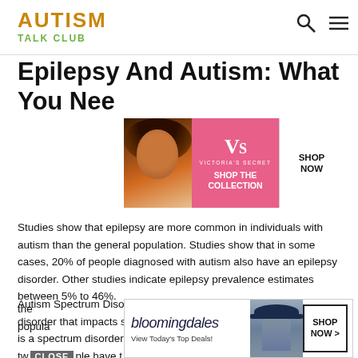AUTISM TALK CLUB
Epilepsy And Autism: What You Need to Know
[Figure (photo): Victoria's Secret advertisement banner with model and 'Shop The Collection / Shop Now' button on pink background]
Studies show that epilepsy are more common in individuals with autism than the general population. Studies show that in some cases, 20% of people diagnosed with autism also have an epilepsy disorder. Other studies indicate epilepsy prevalence estimates between 5% to 46%.
Autism Spectrum Disorder is a complex neurodevelopmental disorder that impacts social, speech, behavioral and motor skills. It is a spectrum disorder meaning it varies from person to person. No two people have the same characteristics as the general population.
[Figure (photo): Bloomingdale's advertisement with woman in hat: 'View Today's Top Deals!' with 'SHOP NOW >' button]